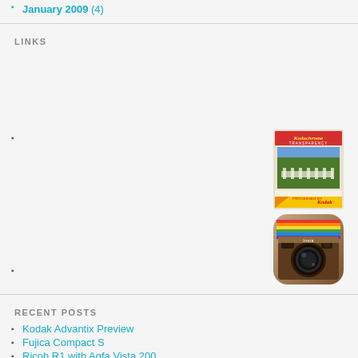January 2009 (4)
LINKS
[Figure (photo): Kodachrome Transparency film slide image]
[Figure (logo): Instagram app icon logo]
RECENT POSTS
Kodak Advantix Preview
Fujica Compact S
Ricoh R1 with Agfa Vista 200
Olympus View Zoom 120
Ricoh Auto half I like it twice as much.
RECENT COMMENTS